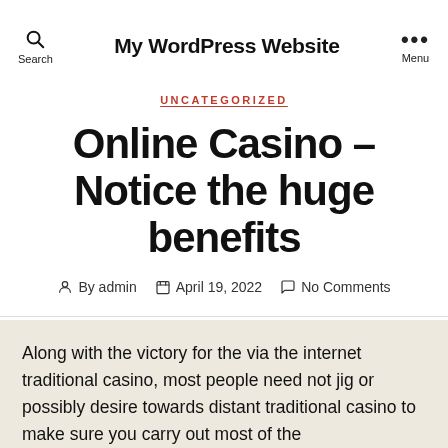My WordPress Website
UNCATEGORIZED
Online Casino – Notice the huge benefits
By admin   April 19, 2022   No Comments
Along with the victory for the via the internet traditional casino, most people need not jig or possibly desire towards distant traditional casino to make sure you carry out most of the http://1ufabet.com recommended game